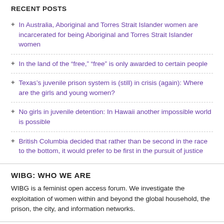RECENT POSTS
In Australia, Aboriginal and Torres Strait Islander women are incarcerated for being Aboriginal and Torres Strait Islander women
In the land of the “free,” “free” is only awarded to certain people
Texas’s juvenile prison system is (still) in crisis (again): Where are the girls and young women?
No girls in juvenile detention: In Hawaii another impossible world is possible
British Columbia decided that rather than be second in the race to the bottom, it would prefer to be first in the pursuit of justice
WIBG: WHO WE ARE
WIBG is a feminist open access forum. We investigate the exploitation of women within and beyond the global household, the prison, the city, and information networks.
RECENT TWEETS